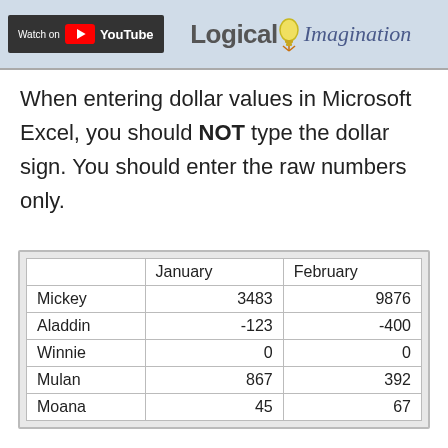[Figure (screenshot): YouTube 'Watch on' banner with Logical Imagination logo]
When entering dollar values in Microsoft Excel, you should NOT type the dollar sign. You should enter the raw numbers only.
|  | January | February |
| --- | --- | --- |
| Mickey | 3483 | 9876 |
| Aladdin | -123 | -400 |
| Winnie | 0 | 0 |
| Mulan | 867 | 392 |
| Moana | 45 | 67 |